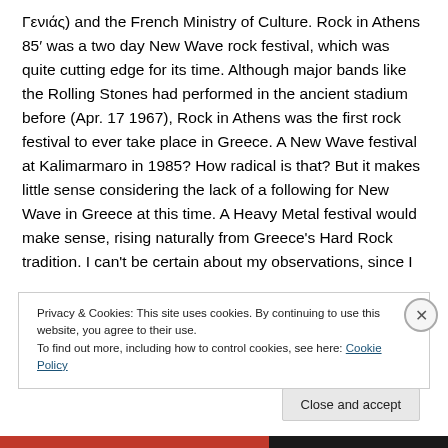Γενιάς) and the French Ministry of Culture. Rock in Athens 85′ was a two day New Wave rock festival, which was quite cutting edge for its time. Although major bands like the Rolling Stones had performed in the ancient stadium before (Apr. 17 1967), Rock in Athens was the first rock festival to ever take place in Greece. A New Wave festival at Kalimarmaro in 1985? How radical is that? But it makes little sense considering the lack of a following for New Wave in Greece at this time. A Heavy Metal festival would make sense, rising naturally from Greece's Hard Rock tradition. I can't be certain about my observations, since I
Privacy & Cookies: This site uses cookies. By continuing to use this website, you agree to their use.
To find out more, including how to control cookies, see here: Cookie Policy